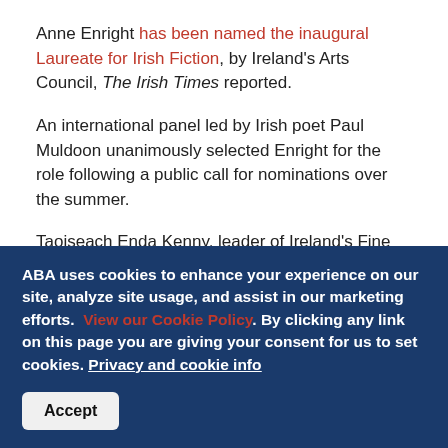Anne Enright has been named the inaugural Laureate for Irish Fiction, by Ireland's Arts Council, The Irish Times reported.
An international panel led by Irish poet Paul Muldoon unanimously selected Enright for the role following a public call for nominations over the summer.
Taoiseach Enda Kenny, leader of Ireland's Fine Gael Party, made the announcement at an Arts Council ceremony in Dublin last week.
“The Laureate for Irish Fiction is awarded on the basis of literary
ABA uses cookies to enhance your experience on our site, analyze site usage, and assist in our marketing efforts. View our Cookie Policy. By clicking any link on this page you are giving your consent for us to set cookies. Privacy and cookie info